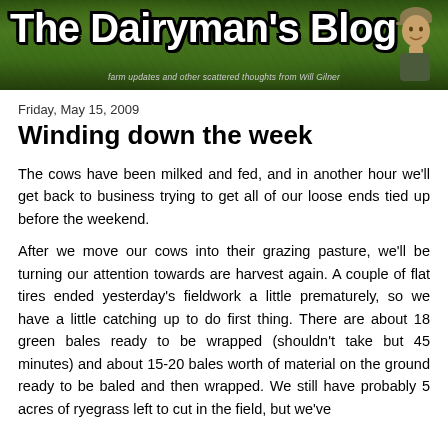[Figure (illustration): The Dairyman's Blog banner header with green pasture background, large white bold text reading 'The Dairyman's Blog', subtitle 'farm updates and other scattered thoughts from Will Gilmer', and a photo of a man in a cap on the right side.]
Friday, May 15, 2009
Winding down the week
The cows have been milked and fed, and in another hour we'll get back to business trying to get all of our loose ends tied up before the weekend.
After we move our cows into their grazing pasture, we'll be turning our attention towards are harvest again. A couple of flat tires ended yesterday's fieldwork a little prematurely, so we have a little catching up to do first thing. There are about 18 green bales ready to be wrapped (shouldn't take but 45 minutes) and about 15-20 bales worth of material on the ground ready to be baled and then wrapped. We still have probably 5 acres of ryegrass left to cut in the field, but we've got to leave it until Monday due to the upcoming weekend forecast.